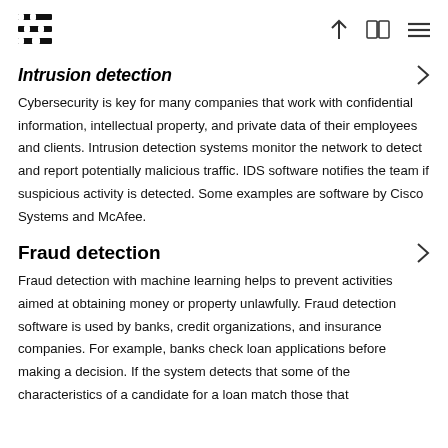[Logo] [up arrow] [book] [menu]
Intrusion detection
Cybersecurity is key for many companies that work with confidential information, intellectual property, and private data of their employees and clients. Intrusion detection systems monitor the network to detect and report potentially malicious traffic. IDS software notifies the team if suspicious activity is detected. Some examples are software by Cisco Systems and McAfee.
Fraud detection
Fraud detection with machine learning helps to prevent activities aimed at obtaining money or property unlawfully. Fraud detection software is used by banks, credit organizations, and insurance companies. For example, banks check loan applications before making a decision. If the system detects that some of the characteristics of a candidate for a loan match those that...